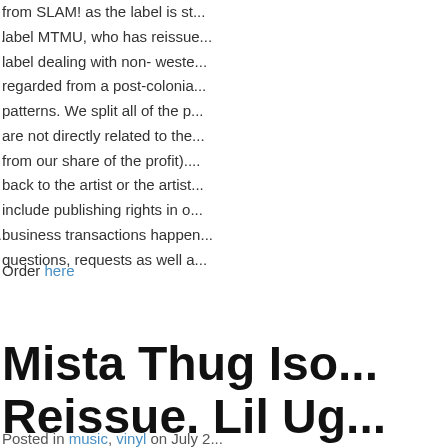from SLAM! as the label is st... label MTMU, who has reissue... label dealing with non- weste... regarded from a post-colonia... patterns. We split all of the p... are not directly related to the... from our share of the profit).... back to the artist or the artist... include publishing rights in o... business transactions happen... questions, requests as well a...
Order here
Mista Thug Iso... Reissue. Lil Ug...
Posted in music, vinyl on July 2...